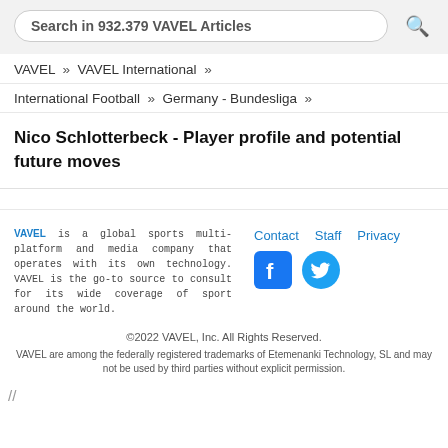Search in 932.379 VAVEL Articles
VAVEL » VAVEL International »
International Football » Germany - Bundesliga »
Nico Schlotterbeck - Player profile and potential future moves
VAVEL is a global sports multi-platform and media company that operates with its own technology. VAVEL is the go-to source to consult for its wide coverage of sport around the world.
Contact  Staff  Privacy
©2022 VAVEL, Inc. All Rights Reserved.
VAVEL are among the federally registered trademarks of Etemenanki Technology, SL and may not be used by third parties without explicit permission.
//